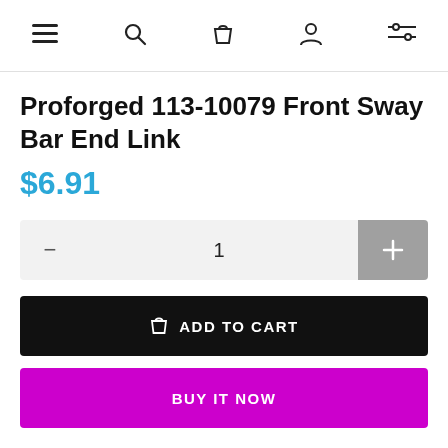Navigation bar with menu, search, cart, account, and filter icons
Proforged 113-10079 Front Sway Bar End Link
$6.91
Quantity: 1
ADD TO CART
BUY IT NOW